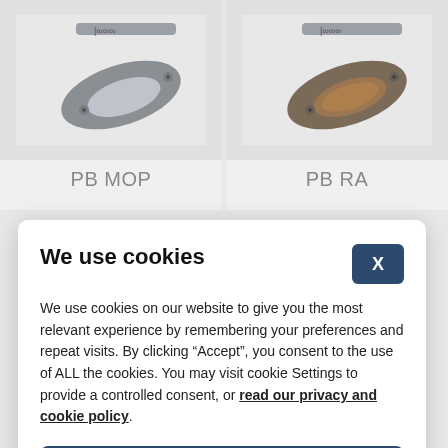[Figure (photo): Two pocket knife / money clip products shown side by side on a light gray background. Left item labeled PB MOP, right item labeled PB RA.]
PB MOP
PB RA
We use cookies
We use cookies on our website to give you the most relevant experience by remembering your preferences and repeat visits. By clicking “Accept”, you consent to the use of ALL the cookies. You may visit cookie Settings to provide a controlled consent, or read our privacy and cookie policy.
Accept all
Settings